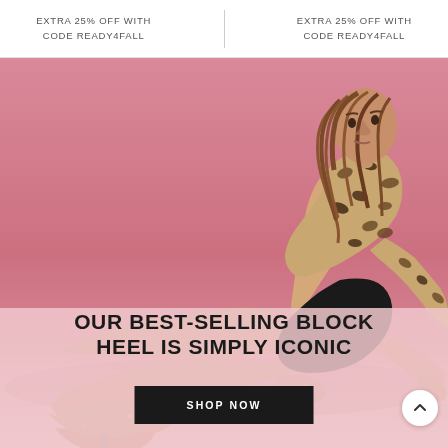EXTRA 25% OFF WITH CODE READY4FALL
EXTRA 25% OFF WITH CODE READY4FALL
[Figure (photo): Fashion editorial photo of a young woman sitting on a pink background, wearing a leopard print long-sleeve top and black skirt, with glittery block heel sandals]
OUR BEST-SELLING BLOCK HEEL IS SIMPLY ICONIC
SHOP NOW